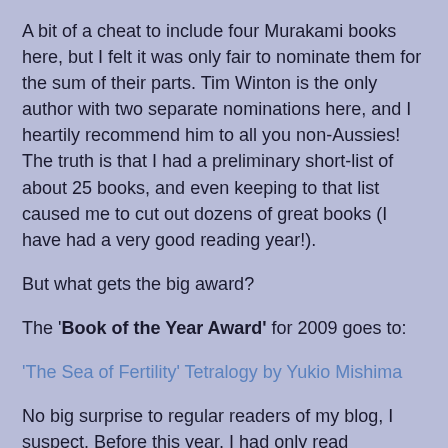A bit of a cheat to include four Murakami books here, but I felt it was only fair to nominate them for the sum of their parts. Tim Winton is the only author with two separate nominations here, and I heartily recommend him to all you non-Aussies! The truth is that I had a preliminary short-list of about 25 books, and even keeping to that list caused me to cut out dozens of great books (I have had a very good reading year!).
But what gets the big award?
The 'Book of the Year Award' for 2009 goes to:
'The Sea of Fertility' Tetralogy by Yukio Mishima
No big surprise to regular readers of my blog, I suspect. Before this year, I had only read Mishima's 'The Temple of the Golden Pavillion', which I found tough going. After buying, reading and posting on 'Forbidden Colours', I decided to take the plunge and tackle all four books in Mishima's career-defining series. All I can say is that I'm very